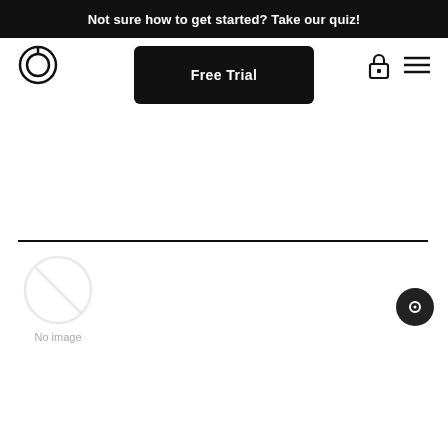Not sure how to get started? Take our quiz!
[Figure (logo): Peloton circular logo (P inside circle)]
Free Trial
[Figure (screenshot): Navigation bar icons: lock icon and hamburger menu]
[Figure (photo): No image placeholder with circle-slash icon and 'No image' label]
No image
[Figure (other): Chat/support button circle at bottom right]